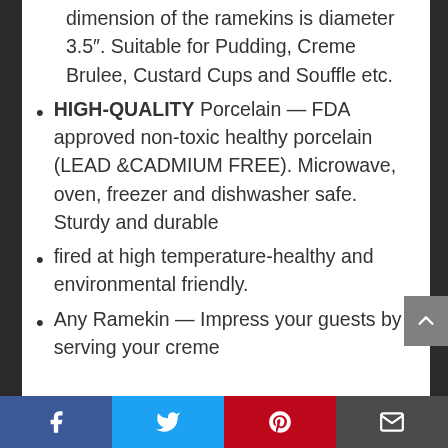dimension of the ramekins is diameter 3.5″. Suitable for Pudding, Creme Brulee, Custard Cups and Souffle etc.
HIGH-QUALITY Porcelain — FDA approved non-toxic healthy porcelain (LEAD &CADMIUM FREE). Microwave, oven, freezer and dishwasher safe. Sturdy and durable
fired at high temperature-healthy and environmental friendly.
Any Ramekin — Impress your guests by serving your creme